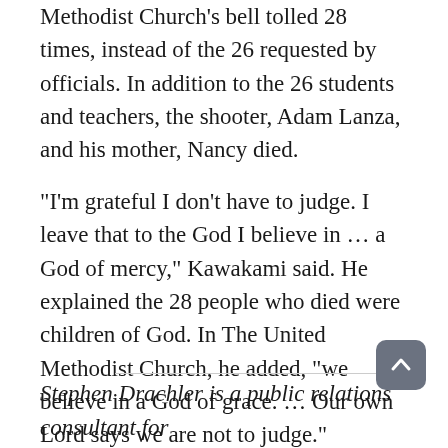Methodist Church's bell tolled 28 times, instead of the 26 requested by officials. In addition to the 26 students and teachers, the shooter, Adam Lanza, and his mother, Nancy died.
“I’m grateful I don’t have to judge. I leave that to the God I believe in … a God of mercy,” Kawakami said. He explained the 28 people who died were children of God. In The United Methodist Church, he added, “we believe in a God of grace. … Our own Lord says we are not to judge.”
Stephen Drachler is a public relations consultant for